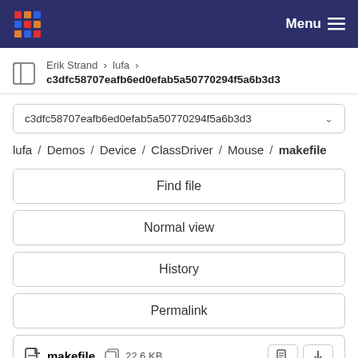Menu
Erik Strand > lufa > c3dfc58707eafb6ed0efab5a50770294f5a6b3d3
c3dfc58707eafb6ed0efab5a50770294f5a6b3d3
lufa / Demos / Device / ClassDriver / Mouse / makefile
Find file
Normal view
History
Permalink
makefile  22.6 KB
Newer  Older